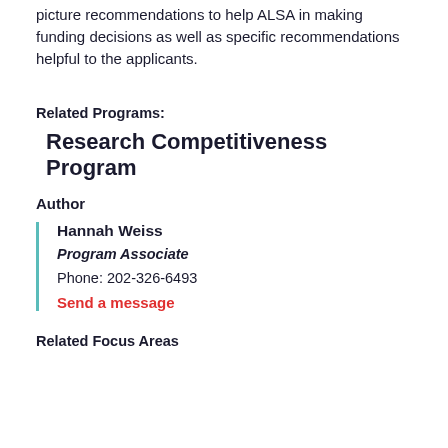picture recommendations to help ALSA in making funding decisions as well as specific recommendations helpful to the applicants.
Related Programs:
Research Competitiveness Program
Author
Hannah Weiss
Program Associate
Phone: 202-326-6493
Send a message
Related Focus Areas